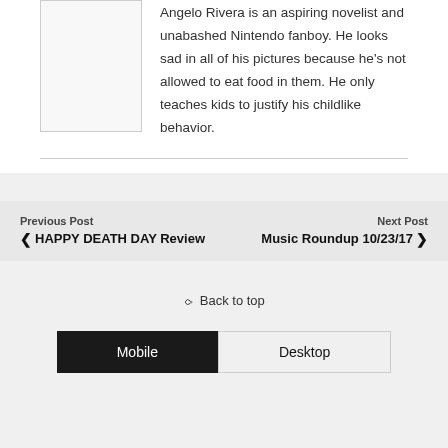Angelo Rivera is an aspiring novelist and unabashed Nintendo fanboy. He looks sad in all of his pictures because he's not allowed to eat food in them. He only teaches kids to justify his childlike behavior.
Previous Post
◁ HAPPY DEATH DAY Review
Next Post
Music Roundup 10/23/17 ▷
⇑ Back to top
Mobile   Desktop